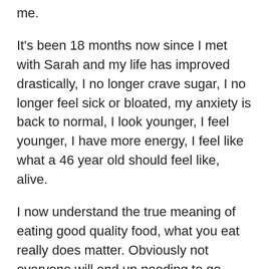me.
It's been 18 months now since I met with Sarah and my life has improved drastically, I no longer crave sugar, I no longer feel sick or bloated, my anxiety is back to normal, I look younger, I feel younger, I have more energy, I feel like what a 46 year old should feel like, alive.
I now understand the true meaning of eating good quality food, what you eat really does matter. Obviously not everyone will end up needing to go through what I had to go through, for most people simply cutting back on less healthy things maybe all you need to do.
If you are someone who is struggling with weight loss issues, or health issues and you feel what the doctors